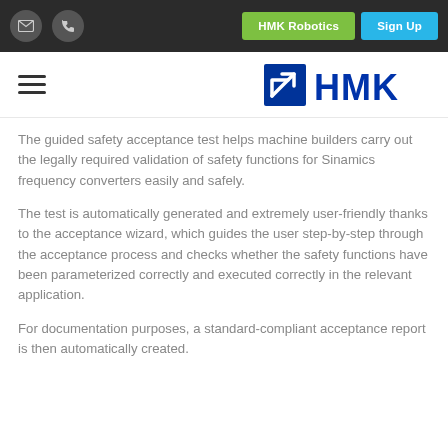HMK Robotics | Sign Up
[Figure (logo): HMK company logo with blue arrow icon and HMK text in blue]
The guided safety acceptance test helps machine builders carry out the legally required validation of safety functions for Sinamics frequency converters easily and safely.
The test is automatically generated and extremely user-friendly thanks to the acceptance wizard, which guides the user step-by-step through the acceptance process and checks whether the safety functions have been parameterized correctly and executed correctly in the relevant application.
For documentation purposes, a standard-compliant acceptance report is then automatically created.